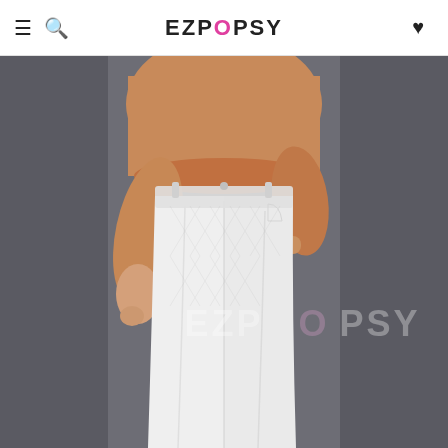EZPOPSY
[Figure (photo): A woman wearing white wide-leg pants with textured/quilted fabric and a tan/camel sweater top. She is posed against a gray background, with one hand in pocket. An EZPOPSY watermark is overlaid on the image.]